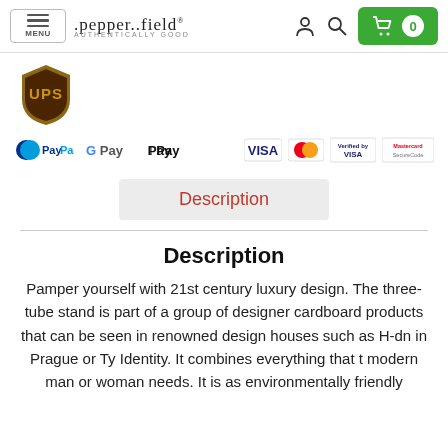[Figure (screenshot): Website header with menu button, pepper..field logo, user icon, search icon, and green cart button showing 0 items]
[Figure (logo): UPS shield logo in gold and brown]
[Figure (logo): Payment method logos: PayPal, Google Pay, Apple Pay, Visa, Mastercard, Verified by Visa, Mastercard SecureCode]
Description
Description
Pamper yourself with 21st century luxury design. The three-tube stand is part of a group of designer cardboard products that can be seen in renowned design houses such as H-d n in Prague or Ty Identity. It combines everything that t modern man or woman needs. It is as environmentally friendly